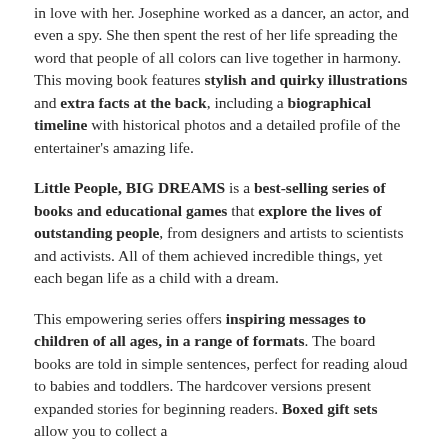in love with her. Josephine worked as a dancer, an actor, and even a spy. She then spent the rest of her life spreading the word that people of all colors can live together in harmony. This moving book features stylish and quirky illustrations and extra facts at the back, including a biographical timeline with historical photos and a detailed profile of the entertainer's amazing life.
Little People, BIG DREAMS is a best-selling series of books and educational games that explore the lives of outstanding people, from designers and artists to scientists and activists. All of them achieved incredible things, yet each began life as a child with a dream.
This empowering series offers inspiring messages to children of all ages, in a range of formats. The board books are told in simple sentences, perfect for reading aloud to babies and toddlers. The hardcover versions present expanded stories for beginning readers. Boxed gift sets allow you to collect a